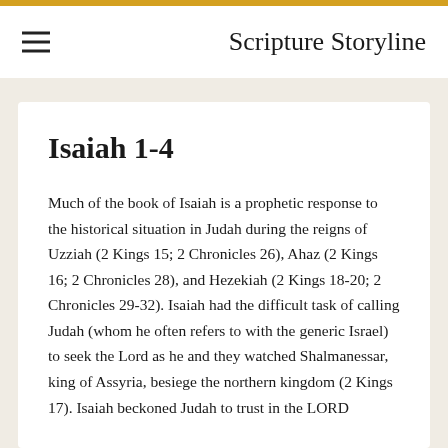Scripture Storyline
Isaiah 1-4
Much of the book of Isaiah is a prophetic response to the historical situation in Judah during the reigns of Uzziah (2 Kings 15; 2 Chronicles 26), Ahaz (2 Kings 16; 2 Chronicles 28), and Hezekiah (2 Kings 18-20; 2 Chronicles 29-32). Isaiah had the difficult task of calling Judah (whom he often refers to with the generic Israel) to seek the Lord as he and they watched Shalmanessar, king of Assyria, besiege the northern kingdom (2 Kings 17). Isaiah beckoned Judah to trust in the LORD